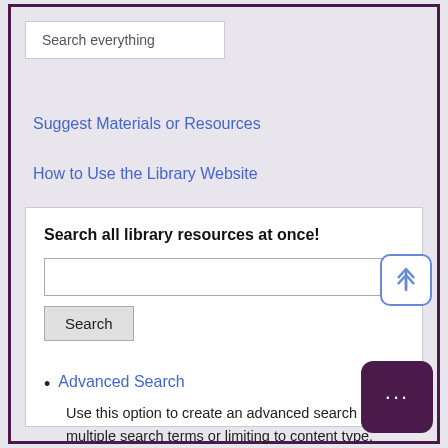Search everything
Suggest Materials or Resources
How to Use the Library Website
Search all library resources at once!
Search
Advanced Search
Use this option to create an advanced search using multiple search terms or limiting to content type.